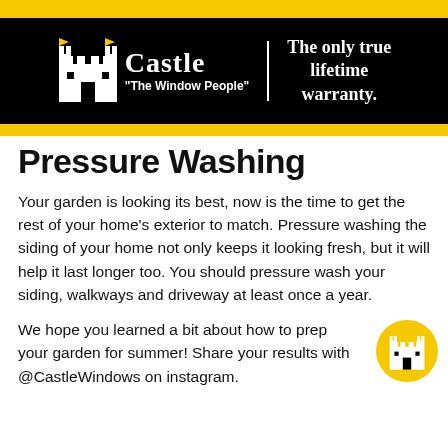[Figure (logo): Castle Windows logo with castle icon, brand name 'Castle', tagline 'The Window People', vertical white divider, and text 'The only true lifetime warranty.' on black background with yellow bars]
Pressure Washing
Your garden is looking its best, now is the time to get the rest of your home's exterior to match. Pressure washing the siding of your home not only keeps it looking fresh, but it will help it last longer too. You should pressure wash your siding, walkways and driveway at least once a year.
We hope you learned a bit about how to prep your garden for summer! Share your results with @CastleWindows on instagram.